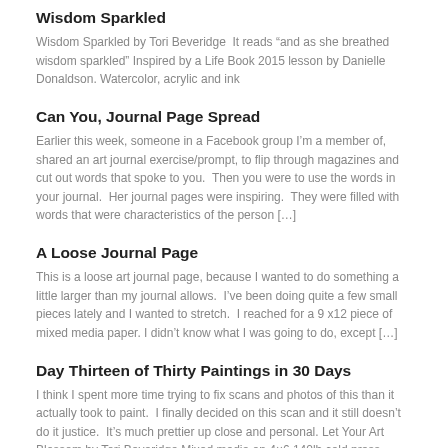Wisdom Sparkled
Wisdom Sparkled by Tori Beveridge   It reads “and as she breathed wisdom sparkled” Inspired by a Life Book 2015 lesson by Danielle Donaldson. Watercolor, acrylic and ink
Can You, Journal Page Spread
Earlier this week, someone in a Facebook group I’m a member of, shared an art journal exercise/prompt, to flip through magazines and cut out words that spoke to you.  Then you were to use the words in your journal.  Her journal pages were inspiring.  They were filled with words that were characteristics of the person […]
A Loose Journal Page
This is a loose art journal page, because I wanted to do something a little larger than my journal allows.  I’ve been doing quite a few small pieces lately and I wanted to stretch.  I reached for a 9 x12 piece of mixed media paper. I didn’t know what I was going to do, except […]
Day Thirteen of Thirty Paintings in 30 Days
I think I spent more time trying to fix scans and photos of this than it actually took to paint.  I finally decided on this scan and it still doesn’t do it justice.  It’s much prettier up close and personal. Let Your Art Blossom by Tori Beveridge Mixed media on 4×6 140lb cold press watercolor […]